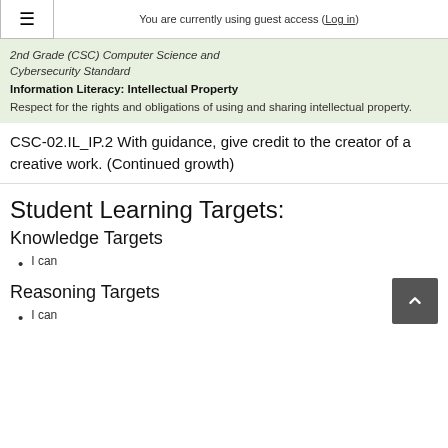≡   You are currently using guest access (Log in)
2nd Grade (CSC) Computer Science and Cybersecurity Standard
Information Literacy: Intellectual Property
Respect for the rights and obligations of using and sharing intellectual property.
CSC-02.IL_IP.2 With guidance, give credit to the creator of a creative work. (Continued growth)
Student Learning Targets:
Knowledge Targets
I can
Reasoning Targets
I can